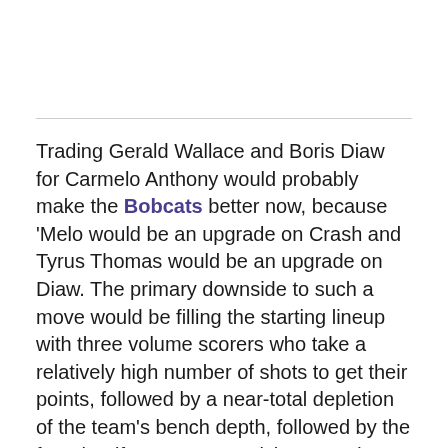Trading Gerald Wallace and Boris Diaw for Carmelo Anthony would probably make the Bobcats better now, because 'Melo would be an upgrade on Crash and Tyrus Thomas would be an upgrade on Diaw. The primary downside to such a move would be filling the starting lineup with three volume scorers who take a relatively high number of shots to get their points, followed by a near-total depletion of the team's bench depth, followed by the fear that if Larry Brown sticks around to coach these guys he might actually make Dominic McGuire the starting power forward instead of Thomas.